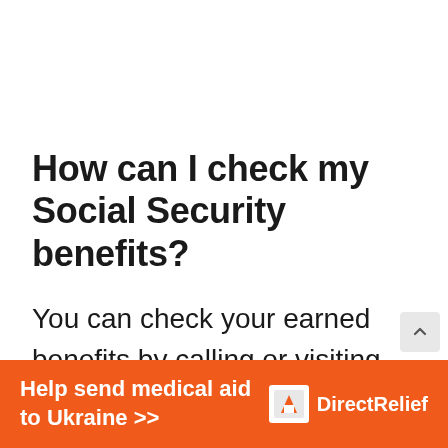How can I check my Social Security benefits?
You can check your earned benefits by calling or visiting the office. But, the easiest way to check your benefits is by logging into your My Social Security account online through
[Figure (infographic): Orange advertisement banner for Direct Relief charity: 'Help send medical aid to Ukraine >>' with Direct Relief logo (white box icon with arrow) on the right side]